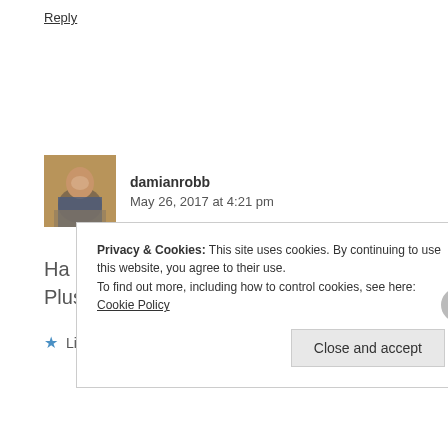Reply
[Figure (photo): Avatar photo of damianrobb — a person outdoors]
damianrobb
May 26, 2017 at 4:21 pm
Ha ha, look, I might pass on that kind offer. Plus, doesn't Loki clean himself now?
★ Like
Privacy & Cookies: This site uses cookies. By continuing to use this website, you agree to their use.
To find out more, including how to control cookies, see here: Cookie Policy
Close and accept